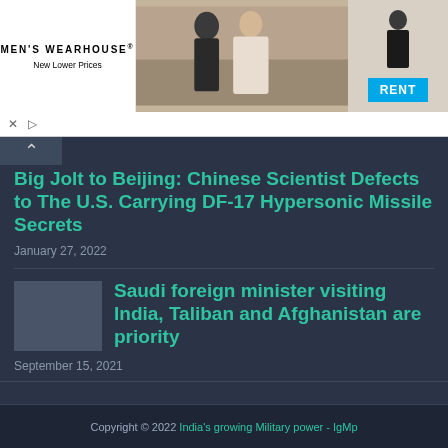[Figure (photo): Men's Wearhouse advertisement banner showing a couple in formal wedding attire and a man in a suit on a white background with a RENT button]
Big Jolt to Beijing: Chinese Scientist Defects to The U.S. Carrying DF-17 Hypersonic Missile Secrets
January 27, 2022
Saudi foreign minister visiting India, Taliban and Afghanistan are priority
September 15, 2021
Copyright © 2022 India's growing Military power - IgMp